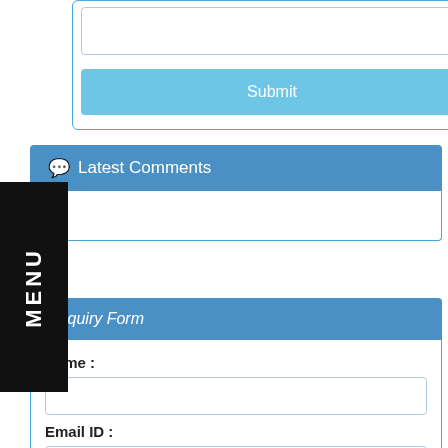[Figure (screenshot): A web form area with a textarea and a Submit button, inside a rounded blue-bordered box]
Latest Comments
MENU
Enquiry Form
Name :
Email ID :